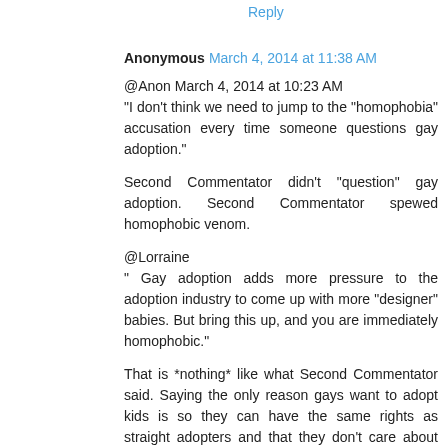Reply
Anonymous  March 4, 2014 at 11:38 AM
@Anon March 4, 2014 at 10:23 AM
"I don't think we need to jump to the "homophobia" accusation every time someone questions gay adoption."

Second Commentator didn't "question" gay adoption. Second Commentator spewed homophobic venom.

@Lorraine
" Gay adoption adds more pressure to the adoption industry to come up with more "designer" babies. But bring this up, and you are immediately homophobic."

That is *nothing* like what Second Commentator said. Saying the only reason gays want to adopt kids is so they can have the same rights as straight adopters and that they don't care about the kids they adopt IS homophobic.
Reply